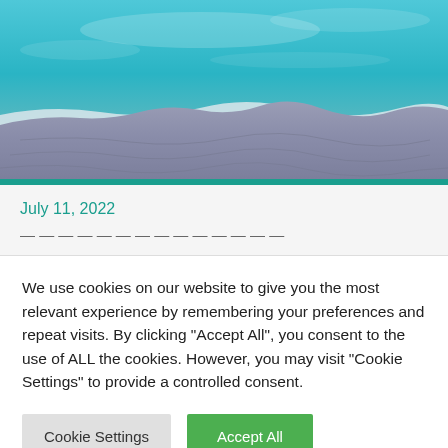[Figure (photo): Aerial view of a coastline showing teal-blue ocean water meeting a sandy/rocky shoreline with a turquoise teal strip at the bottom of the image]
July 11, 2022
We use cookies on our website to give you the most relevant experience by remembering your preferences and repeat visits. By clicking "Accept All", you consent to the use of ALL the cookies. However, you may visit "Cookie Settings" to provide a controlled consent.